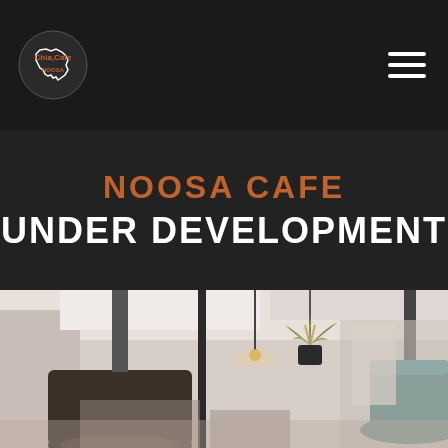[Figure (logo): Chia Cafe Noosa logo — white outline of Australia with text 'Chia,Cafe' and 'NOOSA' on dark background]
NOOSA CAFE
UNDER DEVELOPMENT
[Figure (photo): Interior of a cafe showing hanging pendant lamps (dark metallic shades), a hanging plant, white ceiling, warm natural light]